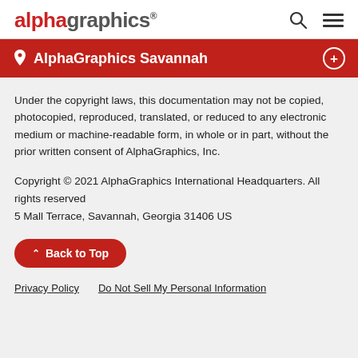AlphaGraphics
AlphaGraphics Savannah
Under the copyright laws, this documentation may not be copied, photocopied, reproduced, translated, or reduced to any electronic medium or machine-readable form, in whole or in part, without the prior written consent of AlphaGraphics, Inc.
Copyright © 2021 AlphaGraphics International Headquarters. All rights reserved
5 Mall Terrace, Savannah, Georgia 31406 US
Back to Top
Privacy Policy   Do Not Sell My Personal Information